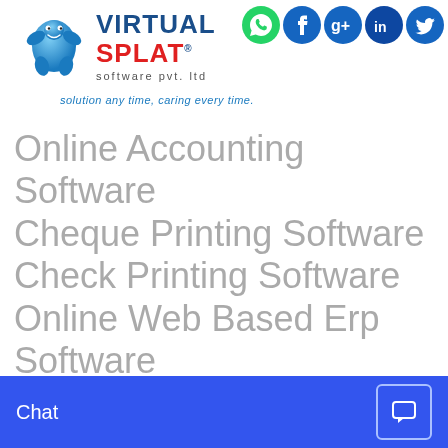[Figure (logo): Virtual Splat software pvt. ltd logo with blue star mascot]
solution any time, caring every time.
[Figure (infographic): Social media icons: WhatsApp, Facebook, Google+, LinkedIn, Twitter]
Online Accounting Software
Cheque Printing Software
Check Printing Software
Online Web Based Erp Software
Online Web Based Excise
CRM Android Mobile App
Chat